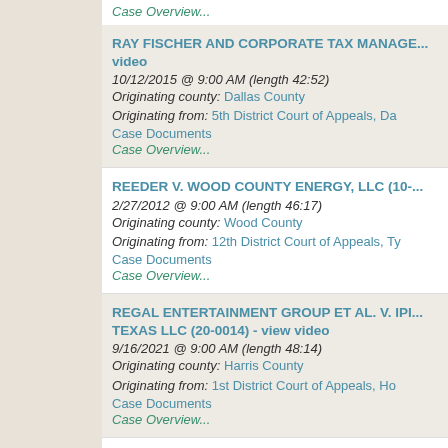Case Overview...
RAY FISCHER AND CORPORATE TAX MANAGE... video
10/12/2015 @ 9:00 AM (length 42:52)
Originating county: Dallas County
Originating from: 5th District Court of Appeals, Da...
Case Documents
Case Overview...
REEDER V. WOOD COUNTY ENERGY, LLC (10-...
2/27/2012 @ 9:00 AM (length 46:17)
Originating county: Wood County
Originating from: 12th District Court of Appeals, Ty...
Case Documents
Case Overview...
REGAL ENTERTAINMENT GROUP ET AL. V. IPI... TEXAS LLC (20-0014) - view video
9/16/2021 @ 9:00 AM (length 48:14)
Originating county: Harris County
Originating from: 1st District Court of Appeals, Ho...
Case Documents
Case Overview...
REGAL FINANCE CO., LTD. V. TEX STAR MOTO...
9/9/2009 @ 9:00 AM (length 46:56)
Originating county: Harris County
Originating from: 14th District Court of Appeals, H...
Case Documents
Case Overview...